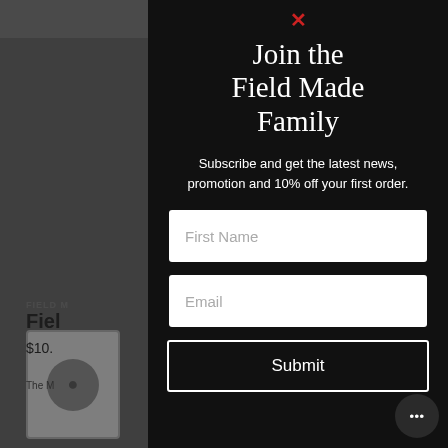[Figure (screenshot): Background of an e-commerce product page showing a product thumbnail, 'FIELD' label, product name starting with 'Fiel', price '$10.' and description starting with 'The M', all dimmed behind a modal overlay]
Join the Field Made Family
Subscribe and get the latest news, promotion and 10% off your first order.
First Name
Email
Submit